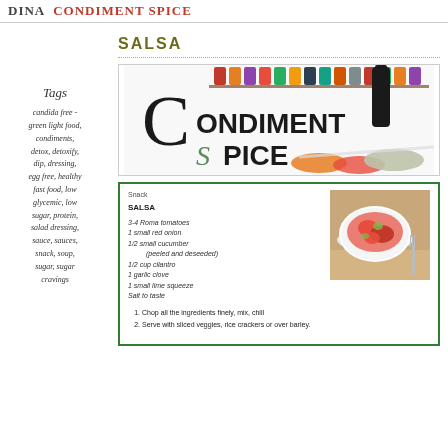DINA CONDIMENT SPICE
SALSA
[Figure (logo): Condiment Spice logo with decorative C and S letterforms, spice jars and spice bowls in background]
Tags
candida free - green light food, condiments, detox, detoxify, dip, dressing, egg free, healthy fast food, low glycemic, low sugar, protein, salad dressing, sauce, sauces, snack, soup, sugar, sugar cravings
[Figure (infographic): Recipe card for Salsa with ingredients list and photo of salsa in bowl. Snack category. Ingredients: 3-4 Roma tomatoes, 1 small red onion, 1/2 small cucumber (peeled and deseeded), 1/2 cup cilantro, 1 garlic clove, 1 small lime squeeze, Salt to taste. Steps: 1. Chop all the ingredients finely, mix, chill. 2. Serve with sliced veggies, rice crackers or over barley.]